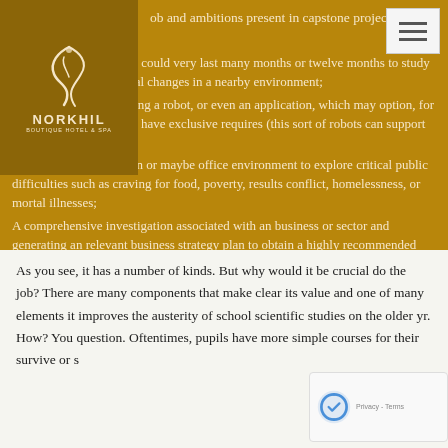[Figure (logo): Norkhil Boutique Hotel & Spa logo with decorative swirl icon on dark gold background]
ob and ambitions present in capstone projects:
medical research, which could very last many months or twelve months to study ecological and ecological changes in a nearby environment;
Developing and producing a robot, or even an application, which may option, for instance, with those that have exclusive requires (this sort of robots can support the impaired);
Creation of a corporation or maybe office environment to explore critical public difficulties such as craving for food, poverty, results conflict, homelessness, or mortal illnesses;
A comprehensive investigation associated with an business or sector and generating an relevant business strategy plan to obtain a highly recommended firm;
Composing, directing, and shooting an statement that might be broadcasted on public television programs;
As you see, it has a number of kinds. But why would it be crucial do the job? There are many components that make clear its value and one of many elements it improves the austerity of school scientific studies on the older yr. How? You question. Oftentimes, pupils have more simple courses for their survive or s